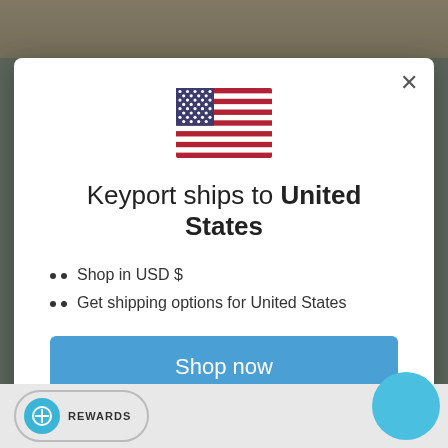[Figure (illustration): US flag emoji/icon displayed in center of modal]
Keyport ships to United States
Shop in USD $
Get shipping options for United States
Shop now
Change shipping country
REWARDS